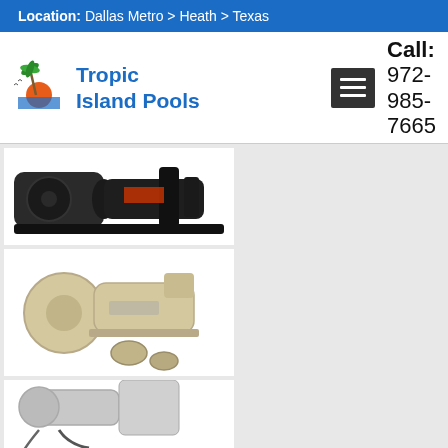Location: Dallas Metro > Heath > Texas
[Figure (logo): Tropic Island Pools logo with palm tree and sunset graphic]
Call: 972-985-7665
[Figure (photo): Black pool pump motor]
[Figure (photo): Beige/cream pool pump with fittings]
[Figure (photo): Partial view of a pool pump]